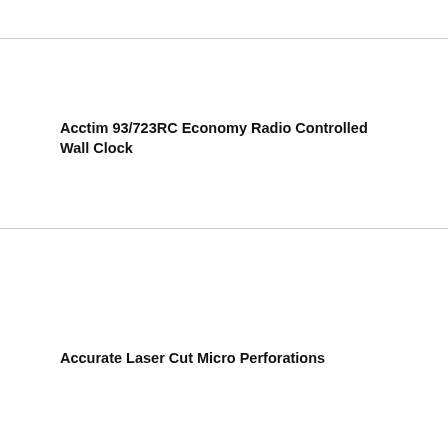Acctim 93/723RC Economy Radio Controlled Wall Clock
Accurate Laser Cut Micro Perforations